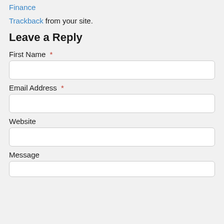Finance
Trackback from your site.
Leave a Reply
First Name *
Email Address *
Website
Message